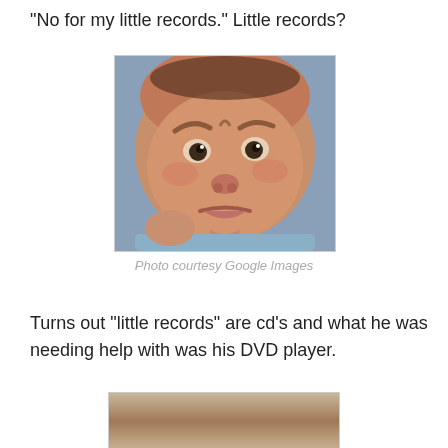“No for my little records.” Little records?
[Figure (photo): Close-up photo of a newborn baby making an angry or disgruntled facial expression, with furrowed brows and pouty lips. Baby is wearing light blue clothing.]
Photo courtesy Google Images
Turns out “little records” are cd’s and what he was needing help with was his DVD player.
[Figure (photo): Partial photo of a person, cropped at the bottom of the page.]